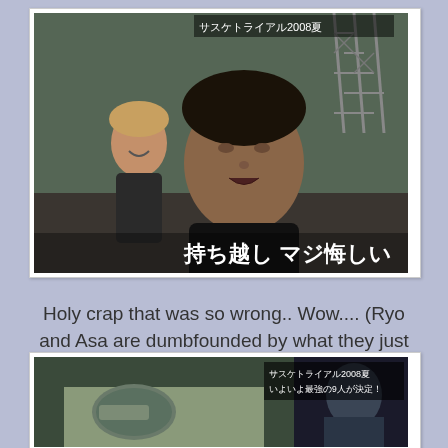[Figure (photo): Screenshot from Japanese TV show showing two people, one with dark short hair in foreground appearing emotional, another with lighter hair smiling in background. Japanese text subtitle reads: 持ち越し マジ悔しい. Metal truss structure visible in background.]
Holy crap that was so wrong.. Wow.... (Ryo and Asa are dumbfounded by what they just saw)
[Figure (photo): Screenshot from Japanese TV show showing a person in a vehicle, viewed from outside through window. Japanese text overlay reads: サスケトライアル2008夏 いよいよ最強の9人が決定！]